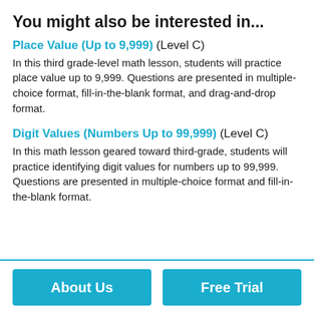You might also be interested in...
Place Value (Up to 9,999) (Level C)
In this third grade-level math lesson, students will practice place value up to 9,999. Questions are presented in multiple-choice format, fill-in-the-blank format, and drag-and-drop format.
Digit Values (Numbers Up to 99,999) (Level C)
In this math lesson geared toward third-grade, students will practice identifying digit values for numbers up to 99,999. Questions are presented in multiple-choice format and fill-in-the-blank format.